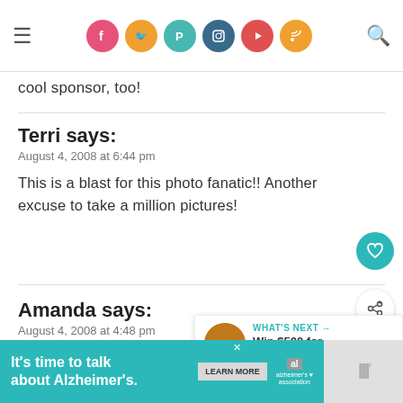Navigation bar with hamburger menu, social icons (Facebook, Twitter, Pinterest, Instagram, YouTube, RSS), and search icon
cool sponsor, too!
Terri says:
August 4, 2008 at 6:44 pm

This is a blast for this photo fanatic!! Another excuse to take a million pictures!
Amanda says:
August 4, 2008 at 4:48 pm

SO excited to see who wins!
[Figure (other): WHAT'S NEXT panel with Prego image and text: Win $500 for Groceries in...]
[Figure (other): Advertisement banner: It's time to talk about Alzheimer's. LEARN MORE button. Alzheimer's Association logo.]